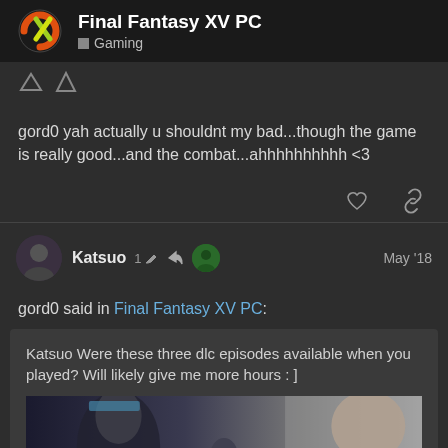Final Fantasy XV PC — Gaming
gord0 yah actually u shouldnt my bad...though the game is really good...and the combat...ahhhhhhhhhh <3
Katsuo  1  May '18
gord0 said in Final Fantasy XV PC:
Katsuo Were these three dlc episodes available when you played? Will likely give me more hours : ]
[Figure (screenshot): Game characters image with page counter 13/46]
13 / 46